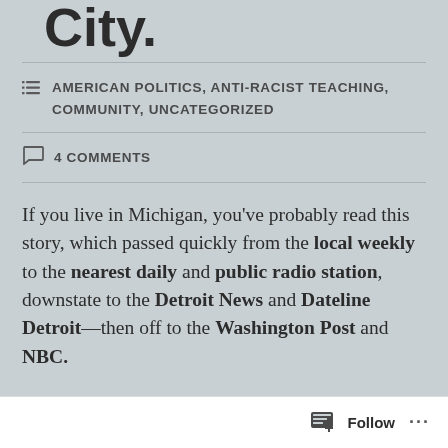City.
AMERICAN POLITICS, ANTI-RACIST TEACHING, COMMUNITY, UNCATEGORIZED
4 COMMENTS
If you live in Michigan, you've probably read this story, which passed quickly from the local weekly to the nearest daily and public radio station, downstate to the Detroit News and Dateline Detroit—then off to the Washington Post and NBC.
Short synopsis: Old white Road Commission member in Leelanau County (Tom Eckerle, 75) makes egregiously racist remark, using the N-word, at a
Follow ...